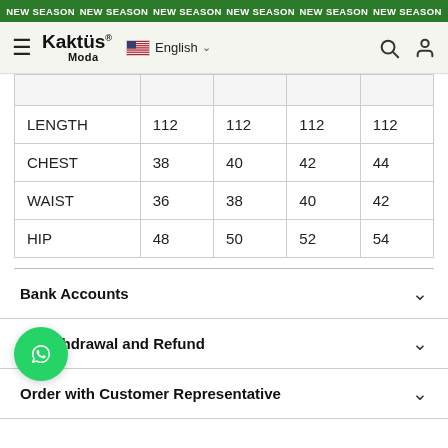NEW SEASON NEW SEASON NEW SEASON NEW SEASON NEW SEASON NEW SEASON
[Figure (screenshot): Kaktüs Moda navigation bar with hamburger menu, logo, English language selector, search and user icons]
|  |  |  |  |  |
| --- | --- | --- | --- | --- |
|  |  |  |  |  |
| LENGTH | 112 | 112 | 112 | 112 |
| CHEST | 38 | 40 | 42 | 44 |
| WAIST | 36 | 38 | 40 | 42 |
| HIP | 48 | 50 | 52 | 54 |
Bank Accounts
of Withdrawal and Refund
Order with Customer Representative